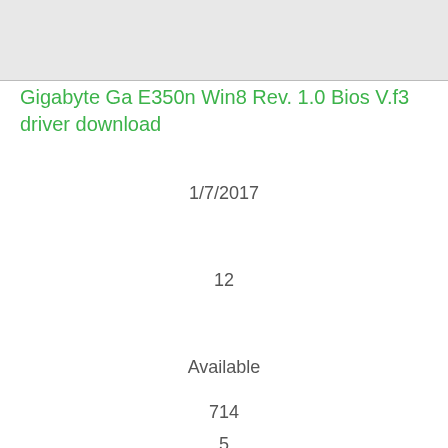[Figure (other): Gray banner image at top of page]
Gigabyte Ga E350n Win8 Rev. 1.0 Bios V.f3 driver download
1/7/2017
12
Available
714
5